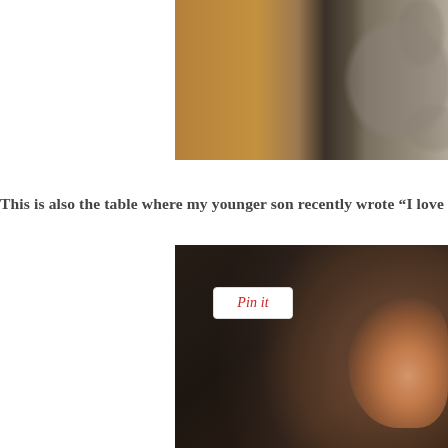[Figure (photo): Partial cropped photo showing a wooden table surface and blurry floral patterned fabric/rug in the background, right-aligned.]
This is also the table where my younger son recently wrote “I love
[Figure (photo): Partial photo of a young boy's head from behind, dark background, ear and short hair visible, with a Pinterest 'Pin it' button overlay.]